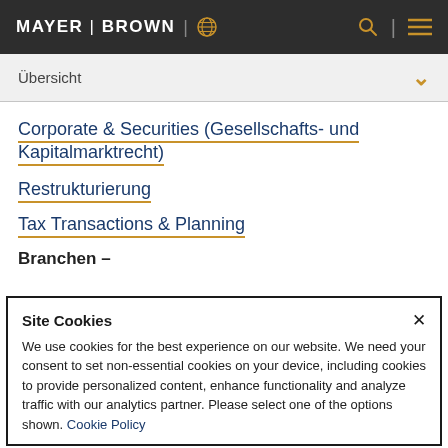MAYER | BROWN
Übersicht
Corporate & Securities (Gesellschafts- und Kapitalmarktrecht)
Restrukturierung
Tax Transactions & Planning
Branchen –
Site Cookies
We use cookies for the best experience on our website. We need your consent to set non-essential cookies on your device, including cookies to provide personalized content, enhance functionality and analyze traffic with our analytics partner. Please select one of the options shown. Cookie Policy